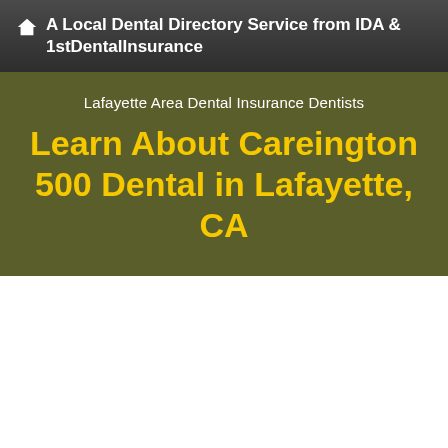A Local Dental Directory Service from IDA & 1stDentalInsurance
Lafayette Area Dental Insurance Dentists
Learn About Careington 500 Dental in Lafayette, CA